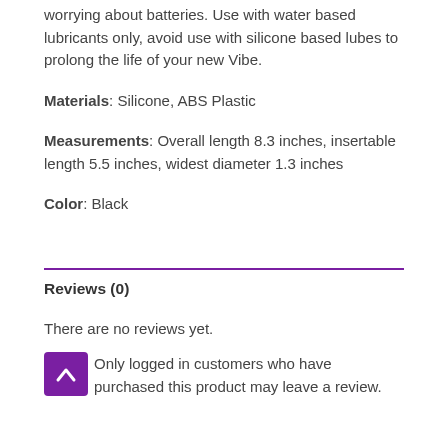worrying about batteries. Use with water based lubricants only, avoid use with silicone based lubes to prolong the life of your new Vibe.
Materials: Silicone, ABS Plastic
Measurements: Overall length 8.3 inches, insertable length 5.5 inches, widest diameter 1.3 inches
Color: Black
Reviews (0)
There are no reviews yet.
Only logged in customers who have purchased this product may leave a review.